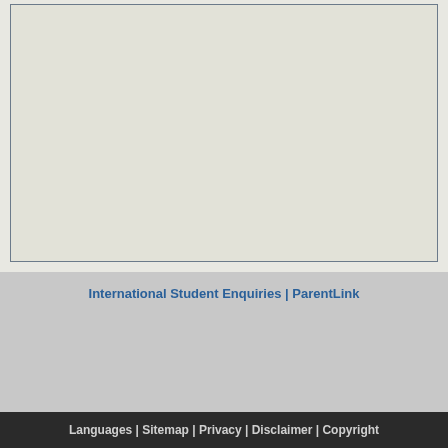[Figure (other): Large light gray content area box with border, representing main page content area]
International Student Enquiries | ParentLink
Languages | Sitemap | Privacy | Disclaimer | Copyright